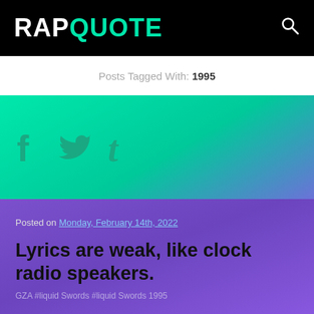RAPQUOTE
Posts Tagged With: 1995
[Figure (illustration): Social media share icons: Facebook (f), Twitter (bird), Tumblr (t) on teal/green gradient background]
Posted on Monday, February 14th, 2022
Lyrics are weak, like clock radio speakers.
GZA #liquid Swords #liquid Swords 1995